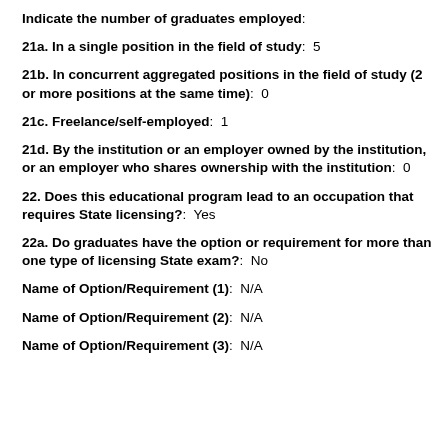Indicate the number of graduates employed:
21a. In a single position in the field of study: 5
21b. In concurrent aggregated positions in the field of study (2 or more positions at the same time): 0
21c. Freelance/self-employed: 1
21d. By the institution or an employer owned by the institution, or an employer who shares ownership with the institution: 0
22. Does this educational program lead to an occupation that requires State licensing?: Yes
22a. Do graduates have the option or requirement for more than one type of licensing State exam?: No
Name of Option/Requirement (1): N/A
Name of Option/Requirement (2): N/A
Name of Option/Requirement (3): N/A